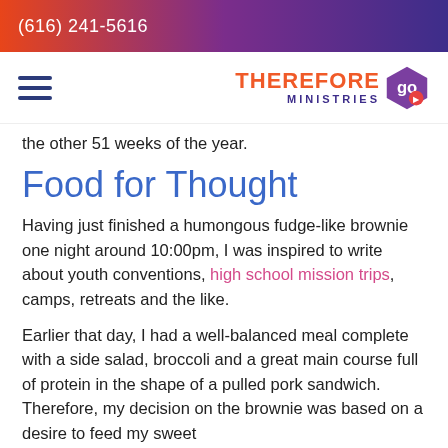(616) 241-5616
[Figure (logo): Therefore Go Ministries logo with hamburger menu icon]
the other 51 weeks of the year.
Food for Thought
Having just finished a humongous fudge-like brownie one night around 10:00pm, I was inspired to write about youth conventions, high school mission trips, camps, retreats and the like.
Earlier that day, I had a well-balanced meal complete with a side salad, broccoli and a great main course full of protein in the shape of a pulled pork sandwich. Therefore, my decision on the brownie was based on a desire to feed my sweet